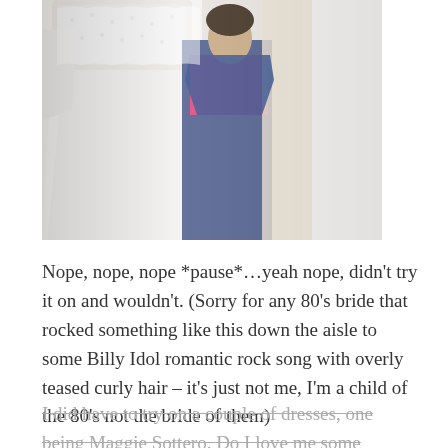[Figure (photo): Photo of wedding dresses hanging on a rack; a white lace wedding gown prominently in front, with a person in a pink top and jeans visible among the dresses in the background.]
Nope, nope, nope *pause*…yeah nope, didn't try it on and wouldn't. (Sorry for any 80's bride that rocked something like this down the aisle to some Billy Idol romantic rock song with overly teased curly hair – it's just not me, I'm a child of the 80's not the bride of them)
I did have to try on a couple of dresses, one being Maggie Sottero. Do I love me some Maggie, and so